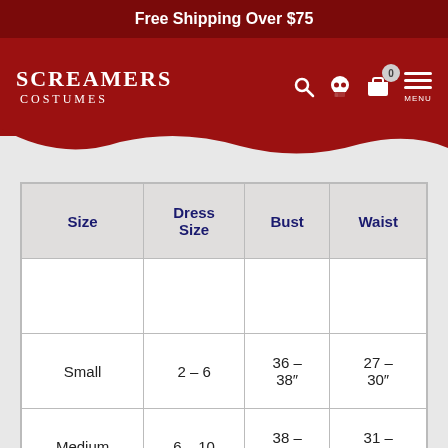Free Shipping Over $75
[Figure (logo): Screamers Costumes logo with navigation icons (search, skull, cart with 0 badge, hamburger menu)]
| Size | Dress Size | Bust | Waist |
| --- | --- | --- | --- |
|  |  |  |  |
| Small | 2 – 6 | 36 – 38" | 27 – 30" |
| Medium | 6 – 10 | 38 – 40" | 31 – 34" |